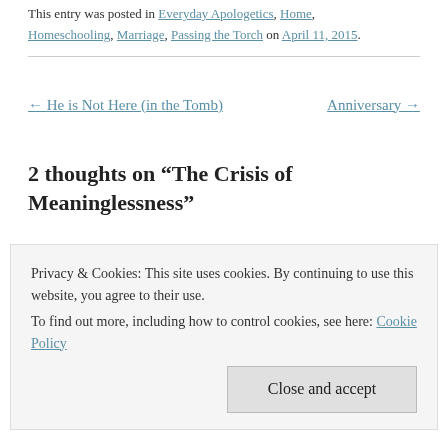This entry was posted in Everyday Apologetics, Home, Homeschooling, Marriage, Passing the Torch on April 11, 2015.
← He is Not Here (in the Tomb)
Anniversary →
2 thoughts on “The Crisis of Meaninglessness”
Privacy & Cookies: This site uses cookies. By continuing to use this website, you agree to their use.
To find out more, including how to control cookies, see here: Cookie Policy
Close and accept